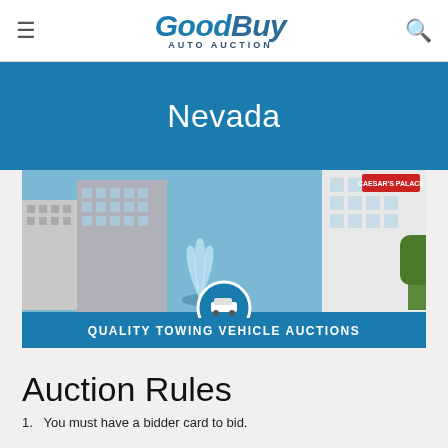GoodBuy AUTO AUCTION
Nevada
[Figure (photo): Las Vegas cityscape with fountain and buildings; 'Quality Towing Vehicle Auctions' banner overlay with car icon]
Auction Rules
1. You must have a bidder card to bid.